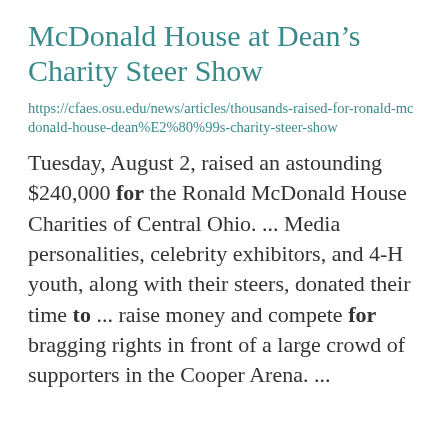McDonald House at Dean's Charity Steer Show
https://cfaes.osu.edu/news/articles/thousands-raised-for-ronald-mcdonald-house-dean%E2%80%99s-charity-steer-show
Tuesday, August 2, raised an astounding $240,000 for the Ronald McDonald House Charities of Central Ohio. ... Media personalities, celebrity exhibitors, and 4-H youth, along with their steers, donated their time to ... raise money and compete for bragging rights in front of a large crowd of supporters in the Cooper Arena. ...